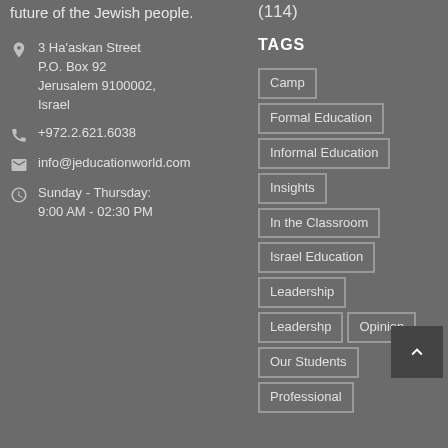future of the Jewish people.
(114)
3 Ha'askan Street
P.O. Box 92
Jerusalem 9100002, Israel
+972.2.621.6038
info@jeducationworld.com
Sunday - Thursday:
9:00 AM - 02:30 PM
TAGS
Camp
Formal Education
Informal Education
Insights
In the Classroom
Israel Education
Leadership
Leadershp
Opinion
Our Students
Professional